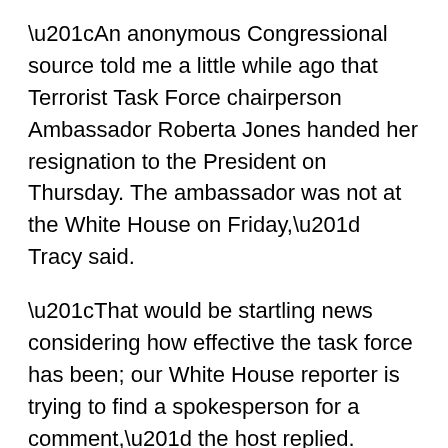“An anonymous Congressional source told me a little while ago that Terrorist Task Force chairperson Ambassador Roberta Jones handed her resignation to the President on Thursday. The ambassador was not at the White House on Friday,” Tracy said.
“That would be startling news considering how effective the task force has been; our White House reporter is trying to find a spokesperson for a comment,” the host replied.
“That same source said that there are nuclear weapons components and possibly a nuclear warhead missing from the strategic inventory,” Tracy said.
This information could have only come from one of the two Senators who were at the meeting Friday. I wondered when the rest would come out.